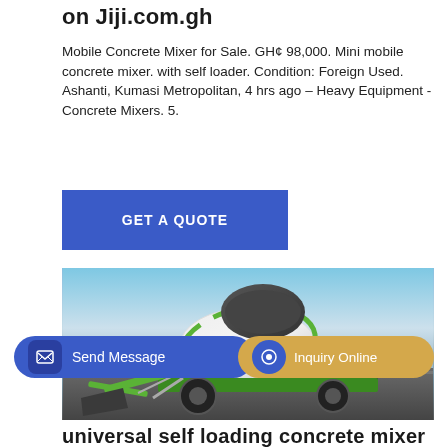on Jiji.com.gh
Mobile Concrete Mixer for Sale. GH¢ 98,000. Mini mobile concrete mixer. with self loader. Condition: Foreign Used. Ashanti, Kumasi Metropolitan, 4 hrs ago – Heavy Equipment - Concrete Mixers. 5.
[Figure (other): Blue GET A QUOTE button]
[Figure (photo): A green and white Talenet brand self-loading mobile concrete mixer truck on a road with sky background]
[Figure (other): Send Message button (blue) and Inquiry Online button (gold/yellow)]
universal self loading concrete mixer